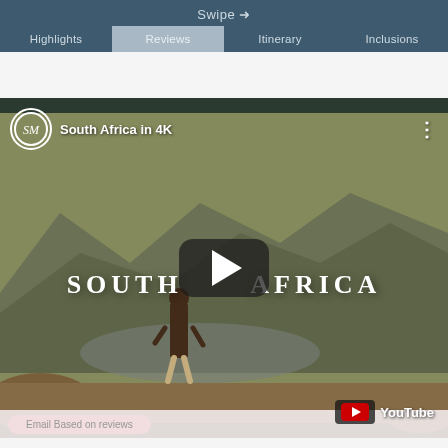Swipe →   Highlights   Reviews   Itinerary   Inclusions
[Figure (screenshot): YouTube video thumbnail showing a person standing on a rocky overlook viewing a mountain and river landscape in South Africa. Title reads 'South Africa in 4K' with SM channel logo. A play button is centered. YouTube branding in bottom right.]